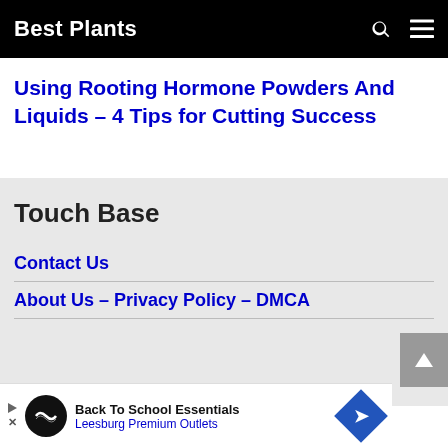Best Plants
Using Rooting Hormone Powders And Liquids – 4 Tips for Cutting Success
Touch Base
Contact Us
About Us – Privacy Policy – DMCA
[Figure (screenshot): Back To School Essentials advertisement banner for Leesburg Premium Outlets]